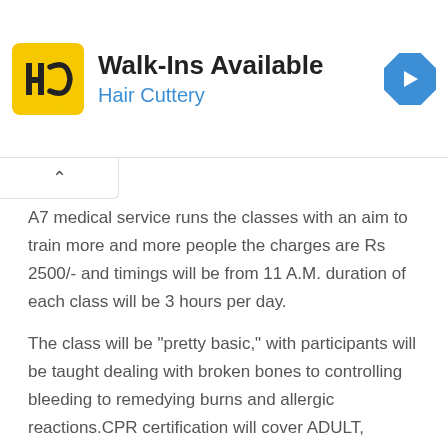[Figure (logo): Hair Cuttery advertisement banner with yellow HC logo, Walk-Ins Available heading, and blue navigation arrow icon]
A7 medical service runs the classes with an aim to train more and more people the charges are Rs 2500/- and timings will be from 11 A.M. duration of each class will be 3 hours per day.
The class will be "pretty basic," with participants will be taught dealing with broken bones to controlling bleeding to remedying burns and allergic reactions.CPR certification will cover ADULT, INFANT and CHILD one. Participants also learn how they can provide first aid if someone is choking, having heart attack and electrical burn.